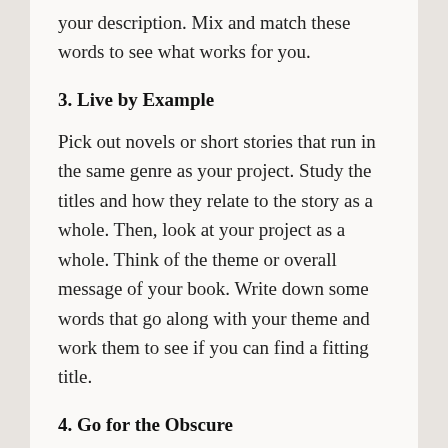your description. Mix and match these words to see what works for you.
3. Live by Example
Pick out novels or short stories that run in the same genre as your project. Study the titles and how they relate to the story as a whole. Then, look at your project as a whole. Think of the theme or overall message of your book. Write down some words that go along with your theme and work them to see if you can find a fitting title.
4. Go for the Obscure